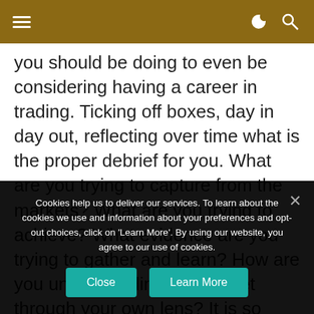≡  ☽ 🔍
you should be doing to even be considering having a career in trading. Ticking off boxes, day in day out, reflecting over time what is the proper debrief for you. What are you trying to capture from the markets? What are you trying to achieve? What evidence are you trying to gather and learn? How are you understanding the market through your own lens? It is so many of these little things which count but makes your eyes spin at the beginning. But there is
Cookies help us to deliver our services. To learn about the cookies we use and information about your preferences and opt-out choices, click on 'Learn More'. By using our website, you agree to our use of cookies.
Close  Learn More